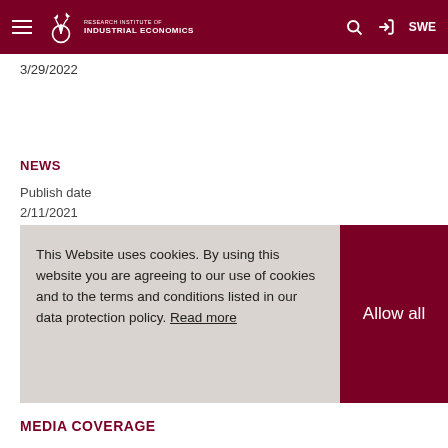Research Institute of Industrial Economics — SWE
3/29/2022
NEWS
Publish date
2/11/2021
This Website uses cookies. By using this website you are agreeing to our use of cookies and to the terms and conditions listed in our data protection policy. Read more
Allow all
MEDIA COVERAGE